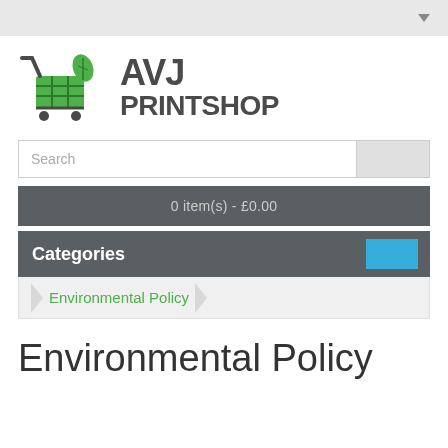[Figure (logo): AVJ Printshop logo with shopping cart icon in green and bold dark gray text reading AVJ PRINTSHOP]
Search
0 item(s) - £0.00
Categories
Environmental Policy
Environmental Policy